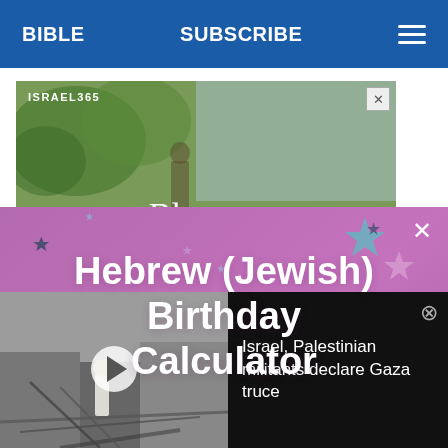BIBLE   SUBSCRIBE   ☰
[Figure (screenshot): Israel365 advertisement banner with 'Bless an' text on a green/nature background, with close (X) button]
[Figure (infographic): Hebrew (Jewish) Birthday Calculator overlay ad on purple/pink background with star decorations and a close (×) button]
[Figure (photo): Video player showing a person standing amid rubble from a destroyed building with a play button overlay]
Israel, Palestinian militants declare Gaza truce